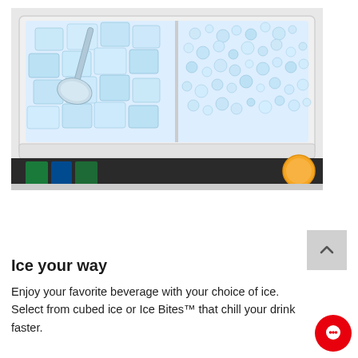[Figure (photo): Open freezer drawer filled with ice cubes and an ice scoop, showing two compartments — one with large cubed ice and one with smaller Ice Bites, with items visible in a lower drawer below.]
Ice your way
Enjoy your favorite beverage with your choice of ice. Select from cubed ice or Ice Bites™ that chill your drink faster.